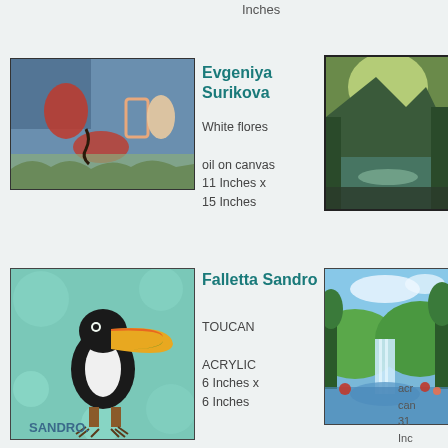Inches
Evgeniya Surikova
[Figure (photo): Painting with abstract red and coral shapes on blue background with foliage]
White flores

oil on canvas
11 Inches x 15 Inches
[Figure (photo): Landscape painting with green mountains, trees, and a serene lake]
Falletta Sandro
[Figure (photo): Painting of a toucan on a teal/green background, signed SANDRO]
TOUCAN

ACRYLIC
6 Inches x 6 Inches
[Figure (photo): Landscape painting with waterfall, green trees, river and colorful flowers]
Fa Si
acr can 31 Inc